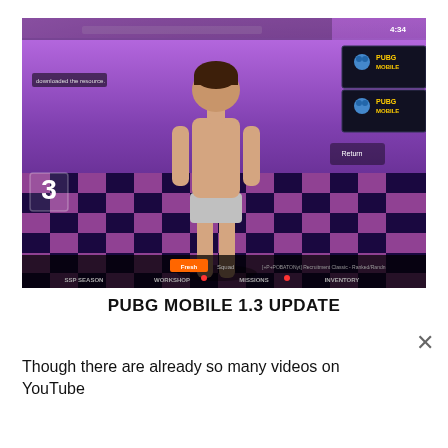[Figure (screenshot): Screenshot of PUBG Mobile game showing a character in underwear standing in a lounge/lobby area with purple and pink checkerboard floor, PUBG Mobile logos visible in top right, and HUD elements at the bottom including Fresh, Squad, BP Season, Workshop, Missions, Inventory tabs.]
PUBG MOBILE 1.3 UPDATE
Though there are already so many videos on YouTube